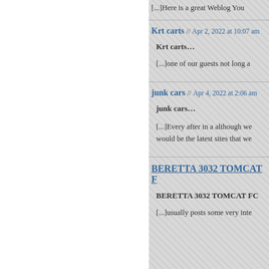[...]Here is a great Weblog You
Krt carts // Apr 2, 2022 at 10:07 am
Krt carts…
[...]one of our guests not long a
junk cars // Apr 4, 2022 at 2:06 am
junk cars…
[...]Every after in a although we would be the latest sites that we
BERETTA 3032 TOMCAT F
BERETTA 3032 TOMCAT FC
[...]usually posts some very inte